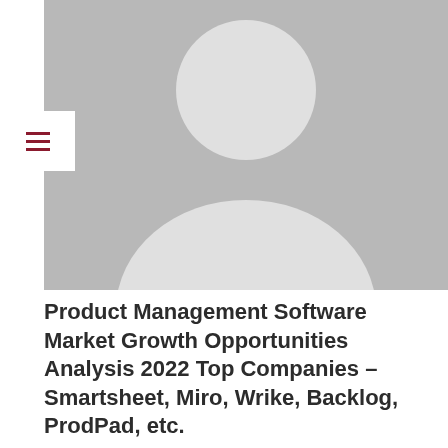[Figure (photo): Default avatar placeholder image — grey background with white silhouette of a person (head circle and body/shoulders arc)]
Product Management Software Market Growth Opportunities Analysis 2022 Top Companies – Smartsheet, Miro, Wrike, Backlog, ProdPad, etc.
BY: ANN J. BARRENTINE / ON: MARCH 14, 2022 / IN: PRODUCT MANAGEMENT
"The global Product Management Software Market report...